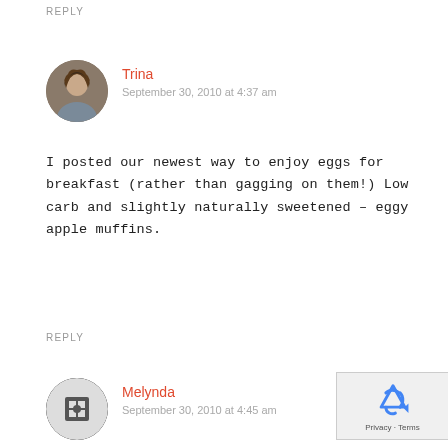REPLY
Trina
September 30, 2010 at 4:37 am
I posted our newest way to enjoy eggs for breakfast (rather than gagging on them!) Low carb and slightly naturally sweetened – eggy apple muffins.
REPLY
Melynda
September 30, 2010 at 4:45 am